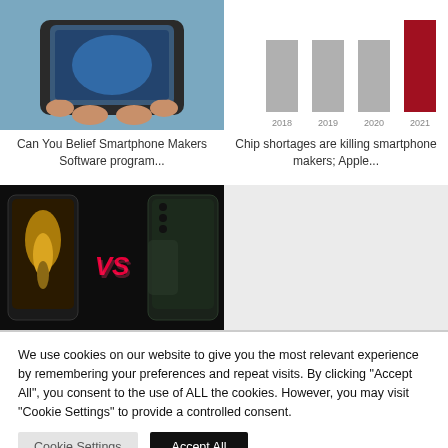[Figure (photo): Person holding a smartphone, top portion visible]
Can You Belief Smartphone Makers Software program...
[Figure (bar-chart): Bar chart with years 2018-2021, last bar red/highlighted]
Chip shortages are killing smartphone makers; Apple...
[Figure (photo): Two foldable smartphones with VS text between them on black background]
[Figure (other): Gray placeholder box]
We use cookies on our website to give you the most relevant experience by remembering your preferences and repeat visits. By clicking "Accept All", you consent to the use of ALL the cookies. However, you may visit "Cookie Settings" to provide a controlled consent.